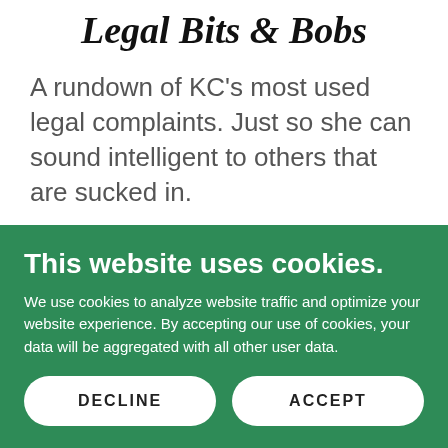Legal Bits & Bobs
A rundown of KC's most used legal complaints. Just so she can sound intelligent to others that are sucked in.
LEARN MORE
This website uses cookies.
We use cookies to analyze website traffic and optimize your website experience. By accepting our use of cookies, your data will be aggregated with all other user data.
DECLINE
ACCEPT